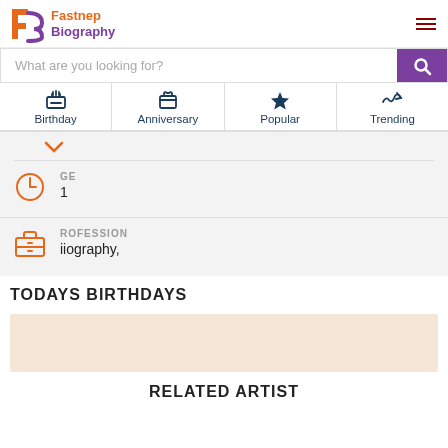Fastnep Biography
What are you looking for?
Birthday
Anniversary
Popular
Trending
GE
1
ROFESSION
iiography,
TODAYS BIRTHDAYS
[Figure (other): Peach/beige colored placeholder image block]
RELATED ARTIST